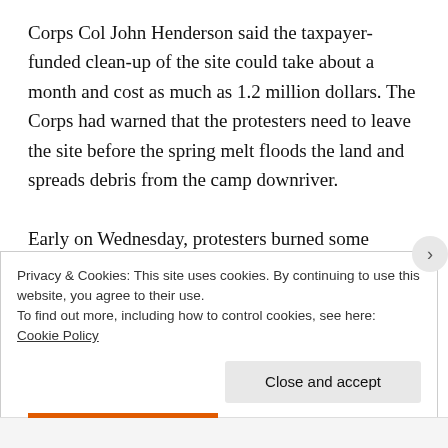Corps Col John Henderson said the taxpayer-funded clean-up of the site could take about a month and cost as much as 1.2 million dollars. The Corps had warned that the protesters need to leave the site before the spring melt floods the land and spreads debris from the camp downriver.

Early on Wednesday, protesters burned some wooden structures on site in what they described as a leaving ceremony. Authorities said about 20 fires were set and a seven-year-old boy and a 17-year-old girl were taken to hospital to be treated for burns.
Privacy & Cookies: This site uses cookies. By continuing to use this website, you agree to their use.
To find out more, including how to control cookies, see here: Cookie Policy
Close and accept